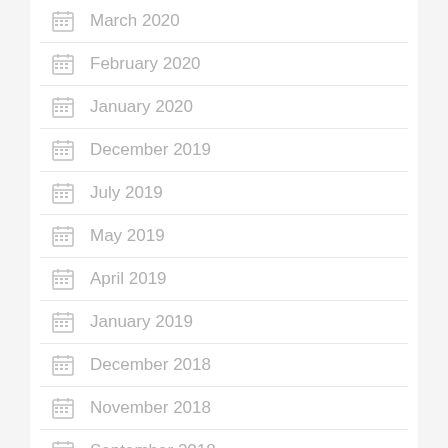March 2020
February 2020
January 2020
December 2019
July 2019
May 2019
April 2019
January 2019
December 2018
November 2018
September 2018
August 2018